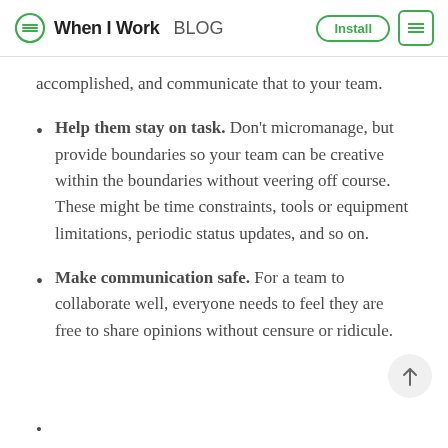When I Work BLOG | Install
accomplished, and communicate that to your team.
Help them stay on task. Don't micromanage, but provide boundaries so your team can be creative within the boundaries without veering off course. These might be time constraints, tools or equipment limitations, periodic status updates, and so on.
Make communication safe. For a team to collaborate well, everyone needs to feel they are free to share opinions without censure or ridicule.